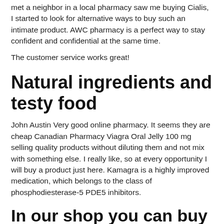met a neighbor in a local pharmacy saw me buying Cialis, I started to look for alternative ways to buy such an intimate product. AWC pharmacy is a perfect way to stay confident and confidential at the same time.
The customer service works great!
Natural ingredients and testy food
John Austin Very good online pharmacy. It seems they are cheap Canadian Pharmacy Viagra Oral Jelly 100 mg selling quality products without diluting them and not mix with something else. I really like, so at every opportunity I will buy a product just here. Kamagra is a highly improved medication, which belongs to the class of phosphodiesterase-5 PDE5 inhibitors.
In our shop you can buy cheap